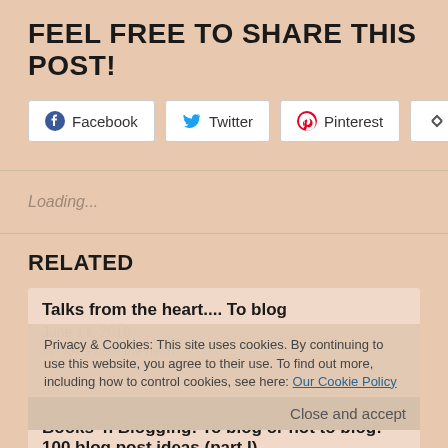FEEL FREE TO SHARE THIS POST!
[Figure (infographic): Four social share buttons: Facebook, Twitter, Pinterest, More]
Loading...
RELATED
Talks from the heart.... To blog
June 14, 2016
In "Talks from the heart"
Privacy & Cookies: This site uses cookies. By continuing to use this website, you agree to their use. To find out more, including how to control cookies, see here: Our Cookie Policy
Close and accept
Books 'n Blogging: To blog or not to blog: 100 blog post ideas (part I)